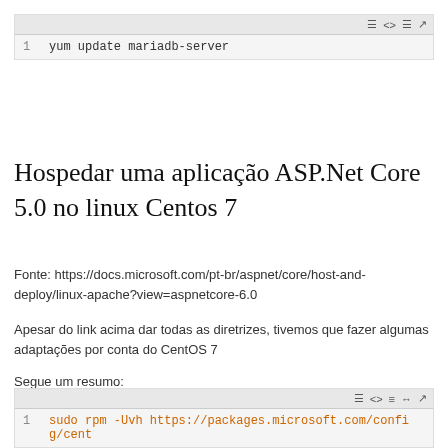[Figure (screenshot): Code block with toolbar showing: 1  yum update mariadb-server]
Hospedar uma aplicação ASP.Net Core 5.0 no linux Centos 7
Fonte: https://docs.microsoft.com/pt-br/aspnet/core/host-and-deploy/linux-apache?view=aspnetcore-6.0
Apesar do link acima dar todas as diretrizes, tivemos que fazer algumas adaptações por conta do CentOS 7
Segue um resumo:
1) Instalar o Asp.net Core
[Figure (screenshot): Code block with toolbar (partial view at bottom), line 1 partially visible with orange text]